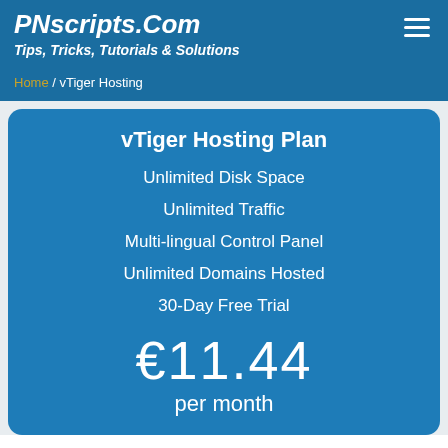PNscripts.Com
Tips, Tricks, Tutorials & Solutions
Home / vTiger Hosting
vTiger Hosting Plan
Unlimited Disk Space
Unlimited Traffic
Multi-lingual Control Panel
Unlimited Domains Hosted
30-Day Free Trial
€11.44
per month